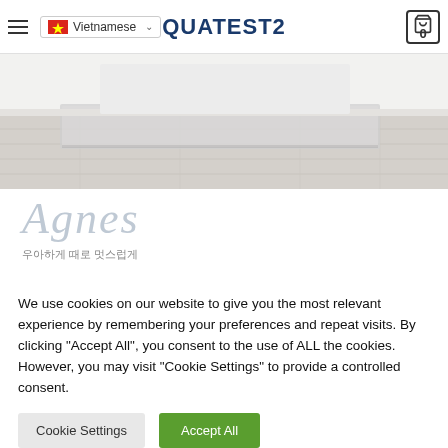Vietnamese | QUATEST2 | 0
[Figure (photo): Hero banner image showing a light-colored room with a rug/mat on a wood-pattern floor, white walls and furniture in background]
[Figure (logo): Agnes brand logo in light blue-grey italic script font with Korean subtitle text: 우아하게 때로 멋스럽게]
We use cookies on our website to give you the most relevant experience by remembering your preferences and repeat visits. By clicking "Accept All", you consent to the use of ALL the cookies. However, you may visit "Cookie Settings" to provide a controlled consent.
Cookie Settings | Accept All